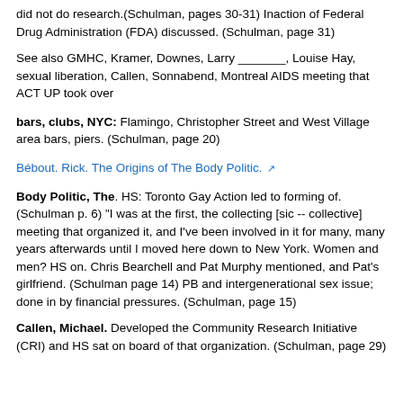did not do research.(Schulman, pages 30-31) Inaction of Federal Drug Administration (FDA) discussed. (Schulman, page 31)
See also GMHC, Kramer, Downes, Larry _______, Louise Hay, sexual liberation, Callen, Sonnabend, Montreal AIDS meeting that ACT UP took over
bars, clubs, NYC: Flamingo, Christopher Street and West Village area bars, piers. (Schulman, page 20)
Bébout. Rick. The Origins of The Body Politic.
Body Politic, The. HS: Toronto Gay Action led to forming of. (Schulman p. 6) "I was at the first, the collecting [sic -- collective] meeting that organized it, and I've been involved in it for many, many years afterwards until I moved here down to New York. Women and men? HS on. Chris Bearchell and Pat Murphy mentioned, and Pat's girlfriend. (Schulman page 14) PB and intergenerational sex issue; done in by financial pressures. (Schulman, page 15)
Callen, Michael. Developed the Community Research Initiative (CRI) and HS sat on board of that organization. (Schulman, page 29)